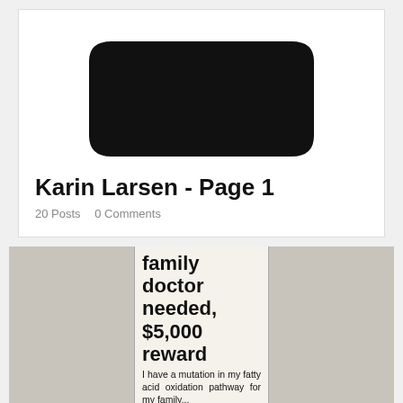[Figure (illustration): Black trapezoid shape used as profile image placeholder]
Karin Larsen - Page 1
20 Posts   0 Comments
[Figure (photo): Photo of a newspaper clipping showing a headline: 'family doctor needed, $5,000 reward' with body text beginning 'I have a mutation in my fatty acid oxidation pathway for my family...']